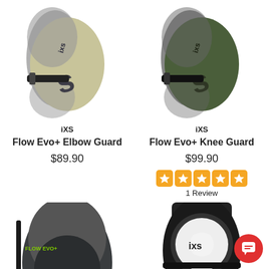[Figure (photo): iXS Flow Evo+ Elbow Guard in tan/beige color with black straps]
iXS
Flow Evo+ Elbow Guard
$89.90
[Figure (photo): iXS Flow Evo+ Knee Guard in olive/green color with black straps]
iXS
Flow Evo+ Knee Guard
$99.90
[Figure (infographic): 5-star rating shown as orange squares with stars]
1 Review
[Figure (photo): iXS knee guard in dark grey/charcoal color, partially visible]
[Figure (photo): iXS knee/shin guard in black with hard shell protection, partially visible]